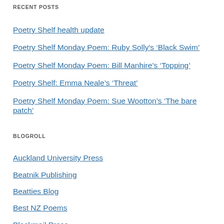RECENT POSTS
Poetry Shelf health update
Poetry Shelf Monday Poem: Ruby Solly's 'Black Swim'
Poetry Shelf Monday Poem: Bill Manhire's 'Topping'
Poetry Shelf: Emma Neale's 'Threat'
Poetry Shelf Monday Poem: Sue Wootton's 'The bare patch'
BLOGROLL
Auckland University Press
Beatnik Publishing
Beatties Blog
Best NZ Poems
Blackmail Press
Canterbury University Press
Cold Hub Press
Hue & Cry